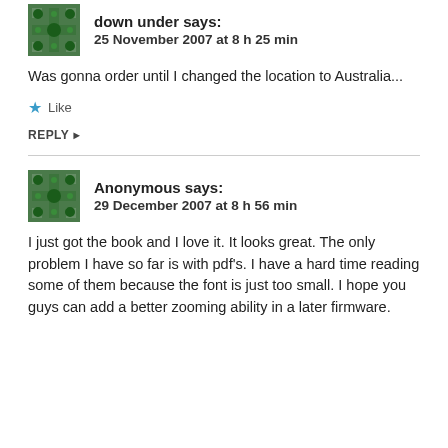down under says: 25 November 2007 at 8 h 25 min
Was gonna order until I changed the location to Australia...
Like
REPLY
Anonymous says: 29 December 2007 at 8 h 56 min
I just got the book and I love it. It looks great. The only problem I have so far is with pdf's. I have a hard time reading some of them because the font is just too small. I hope you guys can add a better zooming ability in a later firmware.